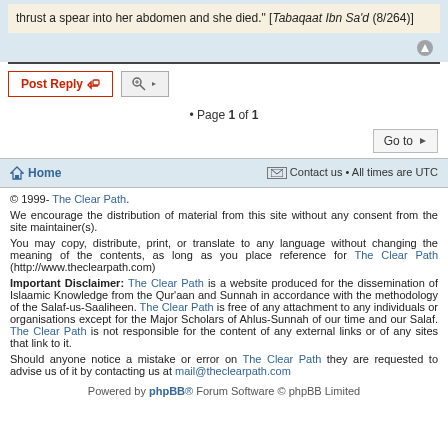thrust a spear into her abdomen and she died." [Tabaqaat Ibn Sa'd (8/264)]
• Page 1 of 1
Go to
Home   Contact us • All times are UTC
© 1999- The Clear Path.
We encourage the distribution of material from this site without any consent from the site maintainer(s).
You may copy, distribute, print, or translate to any language without changing the meaning of the contents, as long as you place reference for The Clear Path (http://www.theclearpath.com)
Important Disclaimer: The Clear Path is a website produced for the dissemination of Islaamic Knowledge from the Qur'aan and Sunnah in accordance with the methodology of the Salaf-us-Saaliheen. The Clear Path is free of any attachment to any individuals or organisations except for the Major Scholars of Ahlus-Sunnah of our time and our Salaf. The Clear Path is not responsible for the content of any external links or of any sites that link to it.
Should anyone notice a mistake or error on The Clear Path they are requested to advise us of it by contacting us at mail@theclearpath.com
Powered by phpBB® Forum Software © phpBB Limited